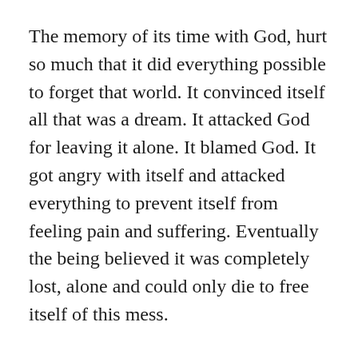The memory of its time with God, hurt so much that it did everything possible to forget that world. It convinced itself all that was a dream. It attacked God for leaving it alone. It blamed God. It got angry with itself and attacked everything to prevent itself from feeling pain and suffering. Eventually the being believed it was completely lost, alone and could only die to free itself of this mess.
God was watching all this. He held the being in his arms. Omnipresent, omnipotent, omniscient God watched his child sleep and dream up all this. “Wake up,” he keeps whispering to his child. “I am right here; you